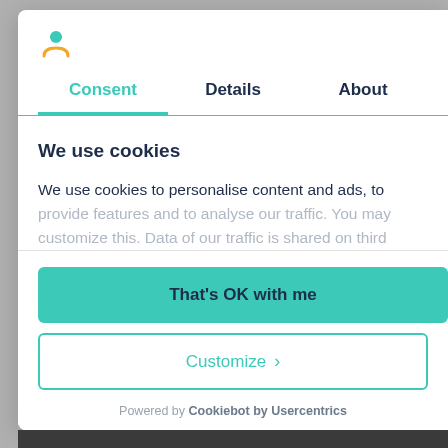[Figure (logo): Cookiebot person/user icon in teal and yellow]
Consent | Details | About
We use cookies
We use cookies to personalise content and ads, to provide features and to analyse our traffic. You may customize this. Data of our traffic is shared on third
That's OK with me
Customize >
Powered by Cookiebot by Usercentrics